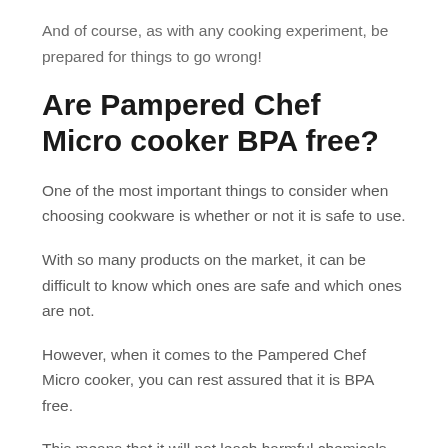And of course, as with any cooking experiment, be prepared for things to go wrong!
Are Pampered Chef Micro cooker BPA free?
One of the most important things to consider when choosing cookware is whether or not it is safe to use.
With so many products on the market, it can be difficult to know which ones are safe and which ones are not.
However, when it comes to the Pampered Chef Micro cooker, you can rest assured that it is BPA free.
This means that it will not leach harmful chemicals into your food, making it a safer option for cooking.